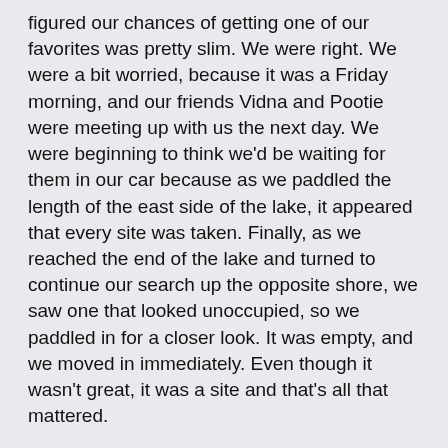figured our chances of getting one of our favorites was pretty slim. We were right. We were a bit worried, because it was a Friday morning, and our friends Vidna and Pootie were meeting up with us the next day. We were beginning to think we'd be waiting for them in our car because as we paddled the length of the east side of the lake, it appeared that every site was taken. Finally, as we reached the end of the lake and turned to continue our search up the opposite shore, we saw one that looked unoccupied, so we paddled in for a closer look. It was empty, and we moved in immediately. Even though it wasn't great, it was a site and that's all that mattered.
At first I didn't think I had ever camped there before, but after a bit of exploration I realized something. This particular site was only about 200 feet from the trail, and back in college, my best friend Paul and I had camped there before either of us had a canoe. It was the only remote site on the lake that you could actually hike to. It was kind of cool to be back after all that time, and to be visiting that site with Vidna, who had been as close to Paul as I had. So call it fate or my crappy memory, but either way it was sort of fitting that our first